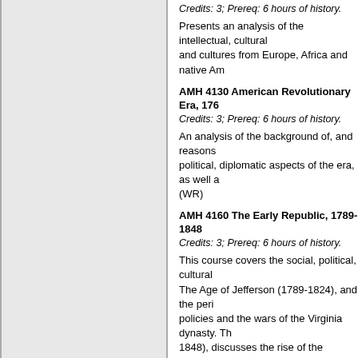Credits: 3; Prereq: 6 hours of history.
Presents an analysis of the intellectual, cultural and cultures from Europe, Africa and native Am
AMH 4130 American Revolutionary Era, 176
Credits: 3; Prereq: 6 hours of history.
An analysis of the background of, and reasons political, diplomatic aspects of the era, as well (WR)
AMH 4160 The Early Republic, 1789-1848
Credits: 3; Prereq: 6 hours of history.
This course covers the social, political, cultural The Age of Jefferson (1789-1824), and the peri policies and the wars of the Virginia dynasty. Th 1848), discusses the rise of the Democratic an reform, further western expansion and the sect
AMH 4231 U.S. World War I to World War II
Credits: 3; Prereq: 6 hours of history.
Post WWI America: the Twenties, Depression a
AMH 4270 U.S. Since World War II
Credits: 3; Prereq: 6 hours of history.